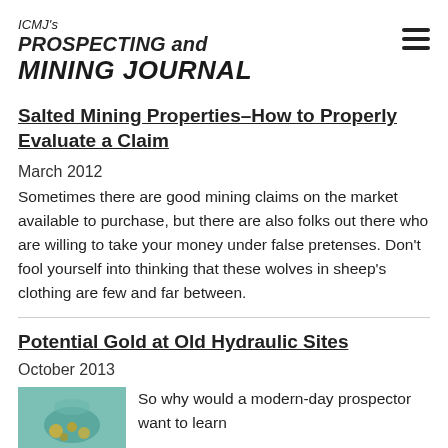ICMJ's PROSPECTING and MINING JOURNAL
Salted Mining Properties–How to Properly Evaluate a Claim
March 2012
Sometimes there are good mining claims on the market available to purchase, but there are also folks out there who are willing to take your money under false pretenses. Don't fool yourself into thinking that these wolves in sheep's clothing are few and far between.
Potential Gold at Old Hydraulic Sites
October 2013
[Figure (photo): Thumbnail image with teal/green background showing gold nuggets or prospecting scene]
So why would a modern-day prospector want to learn